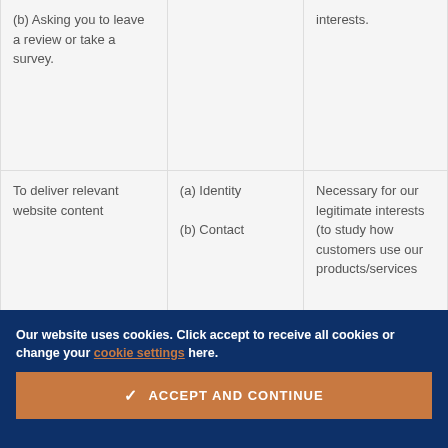| Purpose/Activity | Type of data | Lawful basis for processing |
| --- | --- | --- |
| (b) Asking you to leave a review or take a survey. |  | interests. |
| To deliver relevant website content | (a) Identity
(b) Contact | Necessary for our legitimate interests (to study how customers use our products/services |
Our website uses cookies. Click accept to receive all cookies or change your cookie settings here.
ACCEPT AND CONTINUE